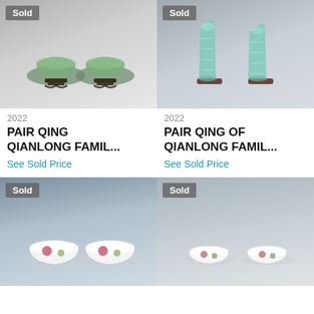[Figure (photo): Photo of a pair of Qing Qianlong famille rose bowls on dark wooden stands, gray gradient background, with 'Sold' badge overlay]
2022
PAIR QING QIANLONG FAMIL...
See Sold Price
[Figure (photo): Photo of a pair of Qing Qianlong famille rose teal vases on wooden stands, gray background, with 'Sold' badge overlay]
2022
PAIR QING OF QIANLONG FAMIL...
See Sold Price
[Figure (photo): Photo of a pair of white porcelain bowls with floral decoration, dark gray gradient background, with 'Sold' badge overlay]
[Figure (photo): Photo of a pair of small white porcelain cups with floral decoration, light gray background, with 'Sold' badge overlay]